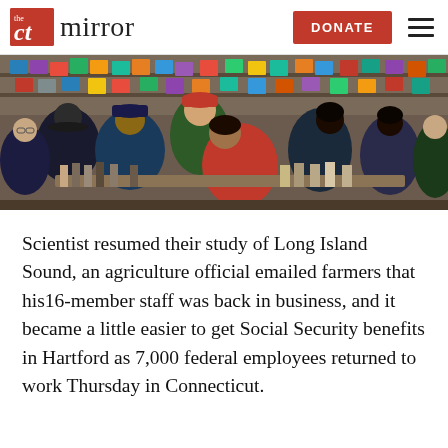the CT mirror | DONATE
[Figure (photo): Crowd of people browsing in a record store, looking through vinyl records. Multiple people wearing hats and jackets.]
Scientist resumed their study of Long Island Sound, an agriculture official emailed farmers that his16-member staff was back in business, and it became a little easier to get Social Security benefits in Hartford as 7,000 federal employees returned to work Thursday in Connecticut.